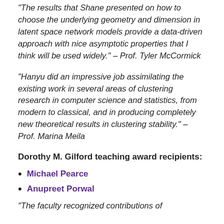“The results that Shane presented on how to choose the underlying geometry and dimension in latent space network models provide a data-driven approach with nice asymptotic properties that I think will be used widely.” – Prof. Tyler McCormick
“Hanyu did an impressive job assimilating the existing work in several areas of clustering research in computer science and statistics, from modern to classical,  and in producing completely new theoretical results in clustering stability.” – Prof. Marina Meila
Dorothy M. Gilford teaching award recipients:
Michael Pearce
Anupreet Porwal
“The faculty recognized contributions of